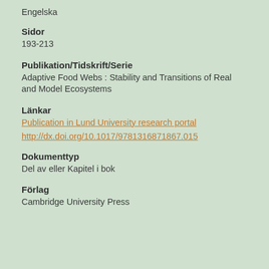Engelska
Sidor
193-213
Publikation/Tidskrift/Serie
Adaptive Food Webs : Stability and Transitions of Real and Model Ecosystems
Länkar
Publication in Lund University research portal
http://dx.doi.org/10.1017/9781316871867.015
Dokumenttyp
Del av eller Kapitel i bok
Förlag
Cambridge University Press